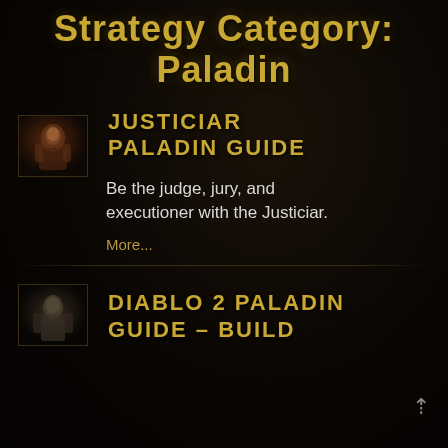Strategy Category: Paladin
[Figure (photo): Small thumbnail image of a Paladin character, armored warrior with reddish tones]
JUSTICIAR PALADIN GUIDE
Be the judge, jury, and executioner with the Justiciar.
More...
[Figure (photo): Small thumbnail image of another Paladin or warrior character]
DIABLO 2 PALADIN GUIDE – BUILD